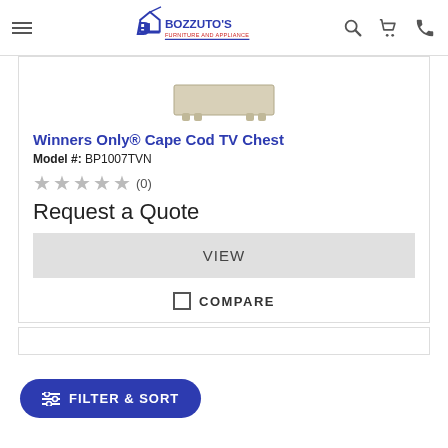Bozzuto's Furniture and Appliance
[Figure (photo): Partial view of a furniture piece (TV chest) on a light background]
Winners Only® Cape Cod TV Chest
Model #: BP1007TVN
★★★★★ (0)
Request a Quote
VIEW
COMPARE